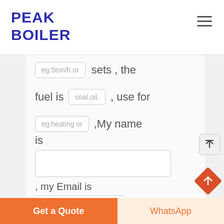[Figure (logo): Peak Boiler logo in dark blue bold text, two lines: PEAK / BOILER]
[Figure (screenshot): Hamburger menu icon (three horizontal lines) in top right of header]
eg:5ton/h or
sets , the
fuel is
coal,oil,
, use for
eg:heating or
,My name
is
, my Email is
Get a Quote
WhatsApp